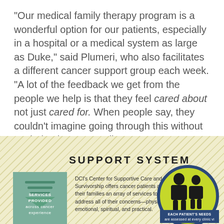“Our medical family therapy program is a wonderful option for our patients, especially in a hospital or a medical system as large as Duke,” said Plumeri, who also facilitates a different cancer support group each week. “A lot of the feedback we get from the people we help is that they feel cared about not just cared for. When people say, they couldn’t imagine going through this without my help, that’s rewarding.”
[Figure (infographic): Support System infographic showing a teal green box with downward arrow icon and text 'SERVICES PROVIDED across cancer experience', a description of DCI's Center for Supportive Care and Survivorship, and a lime green circle with dark blue border showing silhouettes of people with badge text 'EACH PATIENT'S NEEDS are assessed at every clinic visit', set on a diagonal-striped yellow background.]